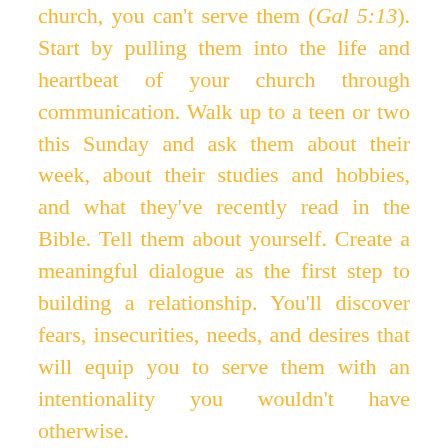church, you can't serve them (Gal 5:13). Start by pulling them into the life and heartbeat of your church through communication. Walk up to a teen or two this Sunday and ask them about their week, about their studies and hobbies, and what they've recently read in the Bible. Tell them about yourself. Create a meaningful dialogue as the first step to building a relationship. You'll discover fears, insecurities, needs, and desires that will equip you to serve them with an intentionality you wouldn't have otherwise.